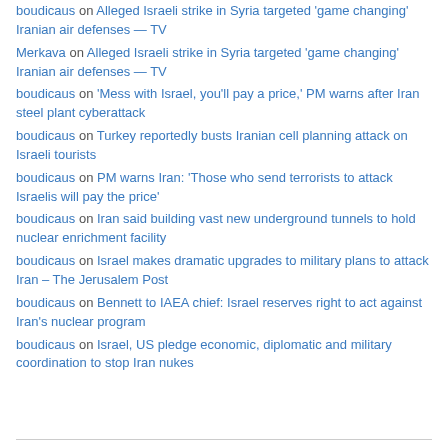boudicaus on Alleged Israeli strike in Syria targeted 'game changing' Iranian air defenses — TV
Merkava on Alleged Israeli strike in Syria targeted 'game changing' Iranian air defenses — TV
boudicaus on 'Mess with Israel, you'll pay a price,' PM warns after Iran steel plant cyberattack
boudicaus on Turkey reportedly busts Iranian cell planning attack on Israeli tourists
boudicaus on PM warns Iran: 'Those who send terrorists to attack Israelis will pay the price'
boudicaus on Iran said building vast new underground tunnels to hold nuclear enrichment facility
boudicaus on Israel makes dramatic upgrades to military plans to attack Iran – The Jerusalem Post
boudicaus on Bennett to IAEA chief: Israel reserves right to act against Iran's nuclear program
boudicaus on Israel, US pledge economic, diplomatic and military coordination to stop Iran nukes